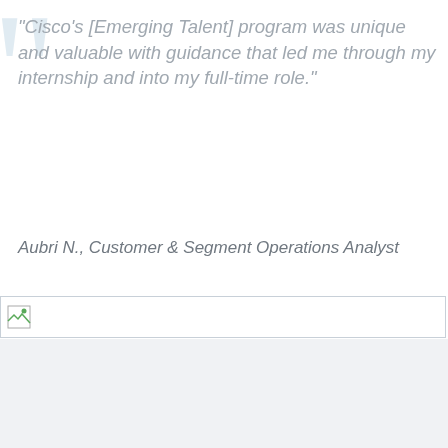“Cisco’s [Emerging Talent] program was unique and valuable with guidance that led me through my internship and into my full-time role.”
Aubri N., Customer & Segment Operations Analyst
[Figure (other): Broken image placeholder bar]
We Are Cisco
We connect everything. We innovate everywhere. We
By continuing to use our website, you acknowledge the use of cookies.
Privacy Statement ›    Change Settings ›